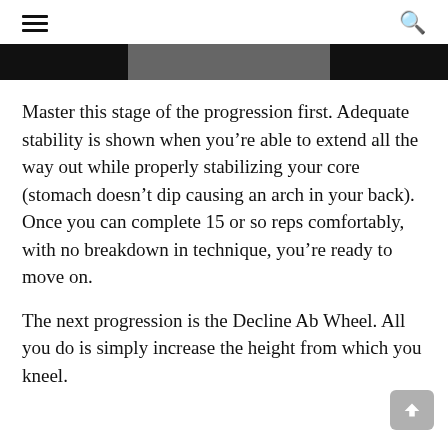≡  🔍
[Figure (photo): Partial image strip showing a dark/black and grey photo at the top of the article]
Master this stage of the progression first. Adequate stability is shown when you're able to extend all the way out while properly stabilizing your core (stomach doesn't dip causing an arch in your back). Once you can complete 15 or so reps comfortably, with no breakdown in technique, you're ready to move on.
The next progression is the Decline Ab Wheel. All you do is simply increase the height from which you kneel.